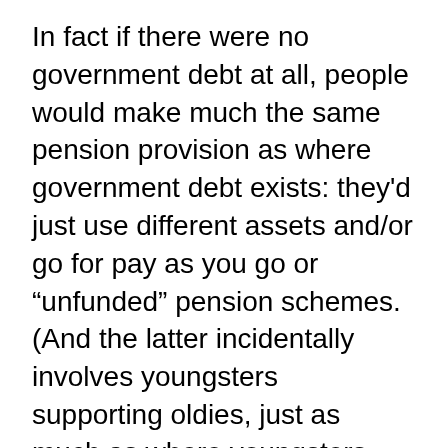In fact if there were no government debt at all, people would make much the same pension provision as where government debt exists: they'd just use different assets and/or go for pay as you go or “unfunded” pension schemes. (And the latter incidentally involves youngsters supporting oldies, just as much as where youngsters buy bonds from oldies.)
Ergo, the creation of government debt, or an increase therein has a negligible effect on the burden imposed on future generations